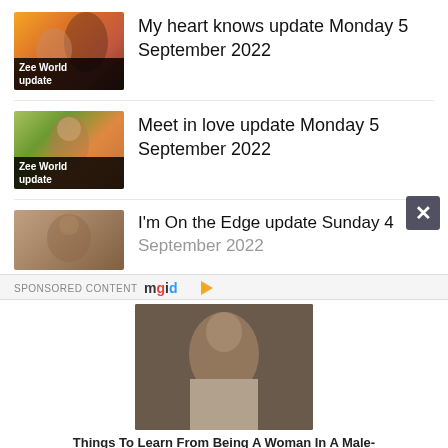My heart knows update Monday 5 September 2022
Meet in love update Monday 5 September 2022
I'm On the Edge update Sunday 4 September 2022
SPONSORED CONTENT mgid
[Figure (photo): Woman with brown hair sitting at a table, looking serious, wearing a white top with 'U' logo visible]
Things To Learn From Being A Woman In A Male-Dominated Industry